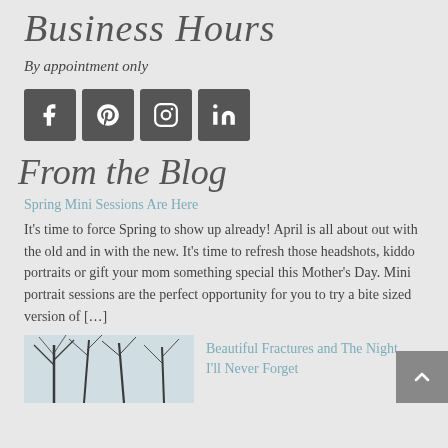Business Hours
By appointment only
[Figure (infographic): Four social media icon buttons: Facebook, Pinterest, Instagram, LinkedIn — dark gray square icons with white symbols]
From the Blog
Spring Mini Sessions Are Here
It's time to force Spring to show up already! April is all about out with the old and in with the new. It's time to refresh those headshots, kiddo portraits or gift your mom something special this Mother's Day. Mini portrait sessions are the perfect opportunity for you to try a bite sized version of […]
[Figure (photo): Thumbnail photo of bare winter trees with light blue-gray sky background]
Beautiful Fractures and The Night I'll Never Forget